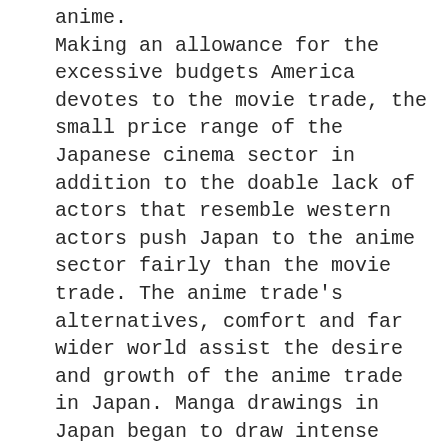anime. Making an allowance for the excessive budgets America devotes to the movie trade, the small price range of the Japanese cinema sector in addition to the doable lack of actors that resemble western actors push Japan to the anime sector fairly than the movie trade. The anime trade's alternatives, comfort and far wider world assist the desire and growth of the anime trade in Japan. Manga drawings in Japan began to draw intense fascination with the 1970s. This curiosity permits manga to be utilized in animations. The extreme curiosity of anime and manga makes Osami Tezuka a legend and promotes it to the “Father of the Animation&rdquo;.With the efforts of Osami Tezuka and his followers, the present state of the anime begins to emerge. Go Nagai and different mangacas develop the best way that Osami